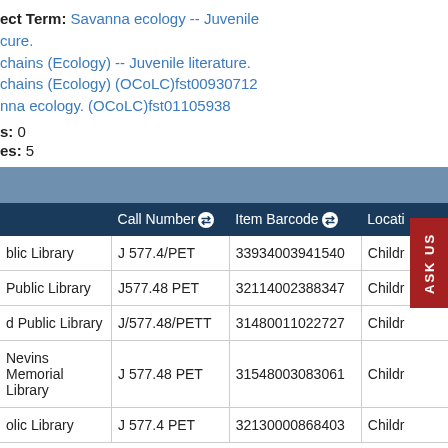Subject Term: Savanna ecology -- Juvenile literature. Food chains (Ecology) -- Juvenile literature. Food chains (Ecology) (OCoLC)fst00930712 Savanna ecology. (OCoLC)fst01105938
Copies: 0
Copies: 5
|  | Call Number | Item Barcode | Location |
| --- | --- | --- | --- |
| blic Library | J 577.4/PET | 33934003941540 | Childr |
| Public Library | J577.48 PET | 32114002388347 | Childr |
| d Public Library | J/577.48/PETT | 31480011022727 | Childr |
| Nevins Memorial Library | J 577.48 PET | 31548003083061 | Childr |
| olic Library | J 577.4 PET | 32130000868403 | Childr |